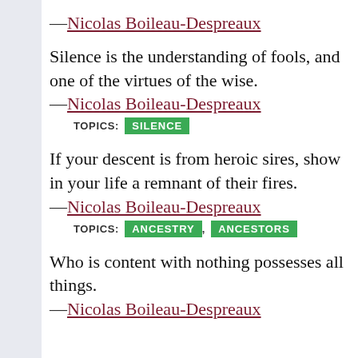—Nicolas Boileau-Despreaux
Silence is the understanding of fools, and one of the virtues of the wise.
—Nicolas Boileau-Despreaux
TOPICS: SILENCE
If your descent is from heroic sires, show in your life a remnant of their fires.
—Nicolas Boileau-Despreaux
TOPICS: ANCESTRY, ANCESTORS
Who is content with nothing possesses all things.
—Nicolas Boileau-Despreaux